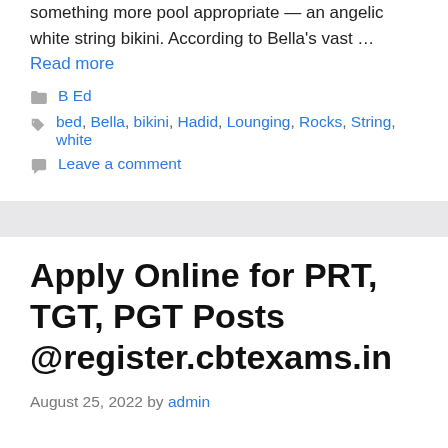something more pool appropriate — an angelic white string bikini. According to Bella's vast … Read more
Categories: B Ed
Tags: bed, Bella, bikini, Hadid, Lounging, Rocks, String, white
Leave a comment
Apply Online for PRT, TGT, PGT Posts @register.cbtexams.in
August 25, 2022 by admin